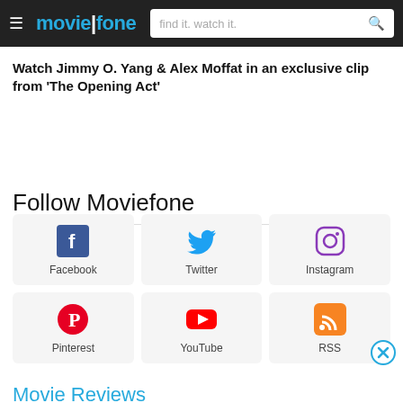moviefone — find it. watch it.
Watch Jimmy O. Yang & Alex Moffat in an exclusive clip from 'The Opening Act'
Follow Moviefone
[Figure (infographic): 6 social media icons in a 3x2 grid: Facebook, Twitter, Instagram, Pinterest, YouTube, RSS]
Movie Reviews